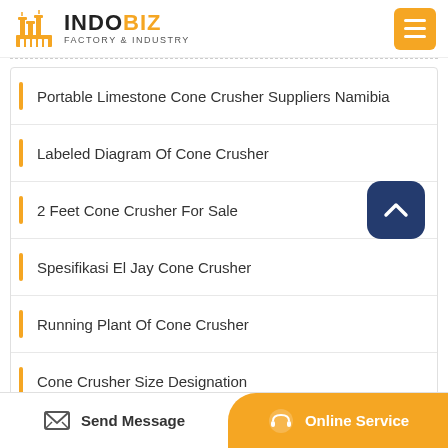INDOBIZ FACTORY & INDUSTRY
Portable Limestone Cone Crusher Suppliers Namibia
Labeled Diagram Of Cone Crusher
2 Feet Cone Crusher For Sale
Spesifikasi El Jay Cone Crusher
Running Plant Of Cone Crusher
Cone Crusher Size Designation
Send Message | Online Service